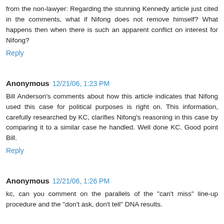from the non-lawyer: Regarding the stunning Kennedy article just cited in the comments, what if Nifong does not remove himself? What happens then when there is such an apparent conflict on interest for Nifong?
Reply
Anonymous 12/21/06, 1:23 PM
Bill Anderson's comments about how this article indicates that Nifong used this case for political purposes is right on. This information, carefully researched by KC, clarifies Nifong's reasoning in this case by comparing it to a similar case he handled. Well done KC. Good point Bill.
Reply
Anonymous 12/21/06, 1:26 PM
kc, can you comment on the parallels of the "can't miss" line-up procedure and the "don't ask, don't tell" DNA results.